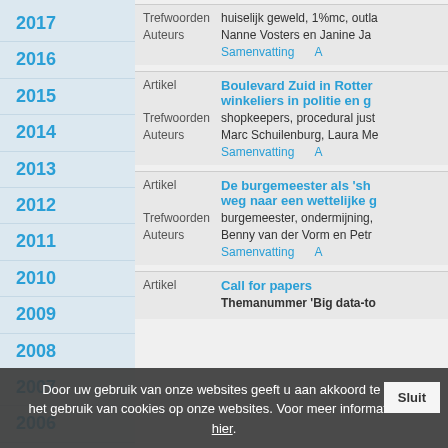2017
2016
2015
2014
2013
2012
2011
2010
2009
2008
2007
2006
| Type | Title/Field | Value |
| --- | --- | --- |
|  | Trefwoorden | huiselijk geweld, 1%mc, outla... |
|  | Auteurs | Nanne Vosters en Janine Ja... |
| Artikel | Boulevard Zuid in Rotter... winkeliers in politie en g... |  |
|  | Trefwoorden | shopkeepers, procedural just... |
|  | Auteurs | Marc Schuilenburg, Laura Me... |
| Artikel | De burgemeester als 'sh... weg naar een wettelijke g... |  |
|  | Trefwoorden | burgemeester, ondermijning,... |
|  | Auteurs | Benny van der Vorm en Petr... |
| Artikel | Call for papers |  |
|  |  | Themanummer 'Big data-to... |
Door uw gebruik van onze websites geeft u aan akkoord te gaa... het gebruik van cookies op onze websites. Voor meer informatie klik hier.